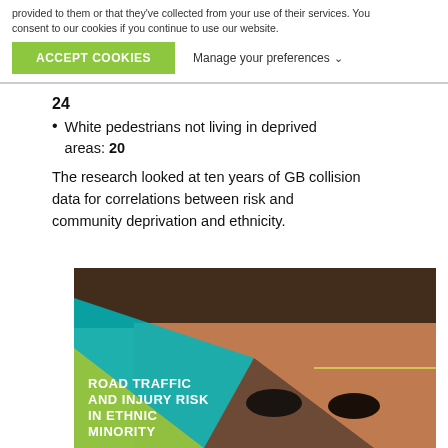provided to them or that they've collected from your use of their services. You consent to our cookies if you continue to use our website.
ACCEPT COOKIES
Manage your preferences
24
White pedestrians not living in deprived areas: 20
The research looked at ten years of GB collision data for correlations between risk and community deprivation and ethnicity.
[Figure (photo): Cover image of a report titled 'Road Traffic and Injury Risk in Ethnic Minority...' showing a close-up of a young Black woman's face with geometric green and teal shapes overlaid in the bottom-left corner.]